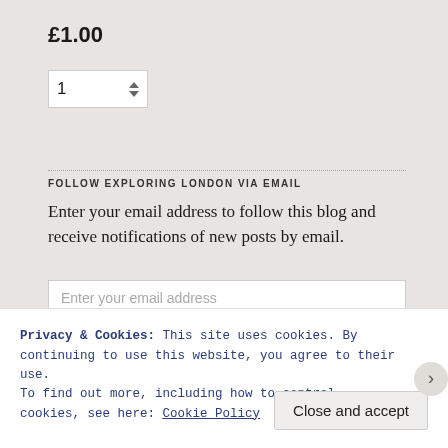£1.00
1
FOLLOW EXPLORING LONDON VIA EMAIL
Enter your email address to follow this blog and receive notifications of new posts by email.
Enter your email address
Sign me up!
Privacy & Cookies: This site uses cookies. By continuing to use this website, you agree to their use.
To find out more, including how to control cookies, see here: Cookie Policy
Close and accept